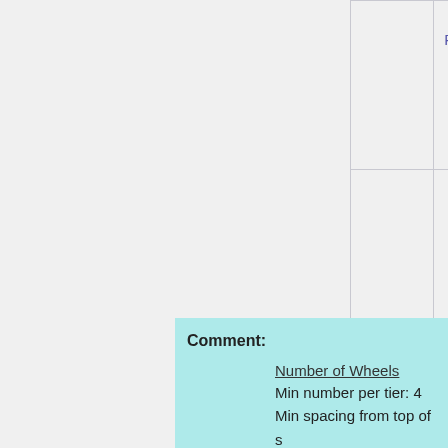|  | Pieresearch ↗ |
|  | Rebar Support Products ↗ |
Comment:
Number of Wheels
Min number per tier: 4
Min spacing from top of s
Max spacing from bottom
Max spacing along shaft:
Number of Pier Supports
One per every 1,500 lbs